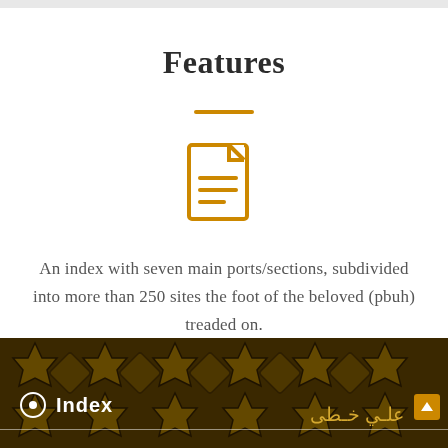Features
[Figure (illustration): Orange document/index icon with lines representing text on a page, with folded top-right corner]
An index with seven main ports/sections, subdivided into more than 250 sites the foot of the beloved (pbuh) treaded on.
[Figure (screenshot): Dark brown Islamic geometric star pattern background with 'Index' label on the left with a white radio button, and Arabic text on the right, with a gold/orange scroll-up button]